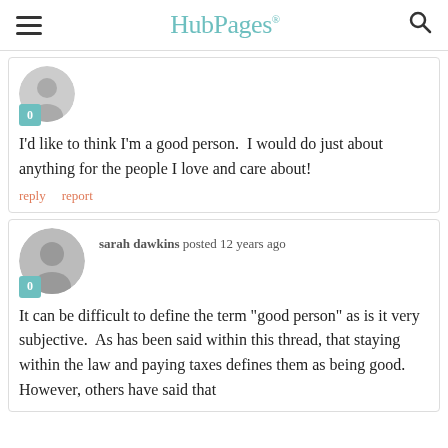HubPages
I'd like to think I'm a good person.  I would do just about anything for the people I love and care about!
reply   report
sarah dawkins posted 12 years ago
It can be difficult to define the term "good person" as is it very subjective.  As has been said within this thread, that staying within the law and paying taxes defines them as being good.  However, others have said that